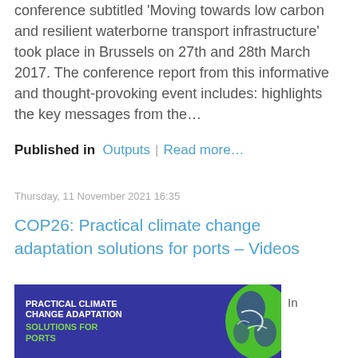conference subtitled 'Moving towards low carbon and resilient waterborne transport infrastructure' took place in Brussels on 27th and 28th March 2017. The conference report from this informative and thought-provoking event includes: highlights the key messages from the…
Published in  Outputs  |  Read more…
Thursday, 11 November 2021 16:35
COP26: Practical climate change adaptation solutions for ports – Videos
In
[Figure (illustration): Banner image with dark blue background showing white bold text 'PRACTICAL CLIMATE CHANGE ADAPTATION' and green text 'SOLUTIONS FOR PORTS', with a green and blue globe graphic on the right side.]